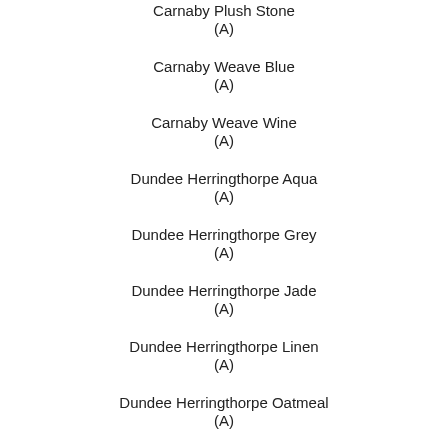Carnaby Plush Stone
(A)
Carnaby Weave Blue
(A)
Carnaby Weave Wine
(A)
Dundee Herringthorpe Aqua
(A)
Dundee Herringthorpe Grey
(A)
Dundee Herringthorpe Jade
(A)
Dundee Herringthorpe Linen
(A)
Dundee Herringthorpe Oatmeal
(A)